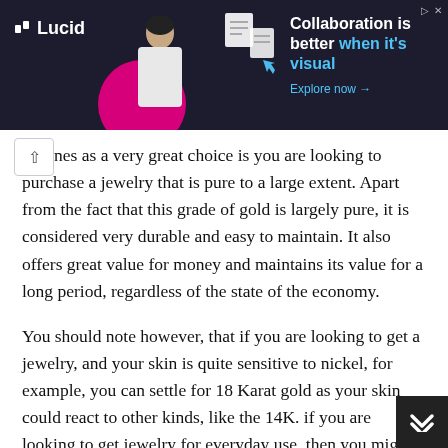[Figure (other): Lucid advertisement banner with dark background, magenta circle, figure of a person, floating paper/document icons, and text 'Collaboration is better when it's visual. Explore now →']
nes as a very great choice is you are looking to purchase a jewelry that is pure to a large extent. Apart from the fact that this grade of gold is largely pure, it is considered very durable and easy to maintain. It also offers great value for money and maintains its value for a long period, regardless of the state of the economy.
You should note however, that if you are looking to get a jewelry, and your skin is quite sensitive to nickel, for example, you can settle for 18 Karat gold as your skin could react to other kinds, like the 14K. if you are looking to get jewelry for everyday use, then you might need to consider pieces with lesser quantity of gold. This is because some jewelry, like rings and bracelets, are prone to scratches ad could